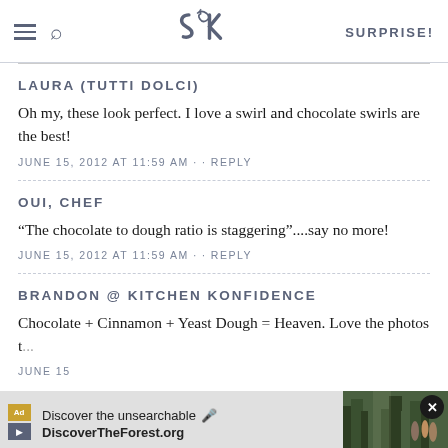SK [logo] SURPRISE!
LAURA (TUTTI DOLCI)
Oh my, these look perfect. I love a swirl and chocolate swirls are the best!
JUNE 15, 2012 AT 11:59 AM · · REPLY
OUI, CHEF
“The chocolate to dough ratio is staggering”....say no more!
JUNE 15, 2012 AT 11:59 AM · · REPLY
BRANDON @ KITCHEN KONFIDENCE
Chocolate + Cinnamon + Yeast Dough = Heaven. Love the photos t...
JUNE 15...
[Figure (screenshot): Ad overlay: 'Discover the unsearchable / DiscoverTheForest.org' with forest photo and close button]